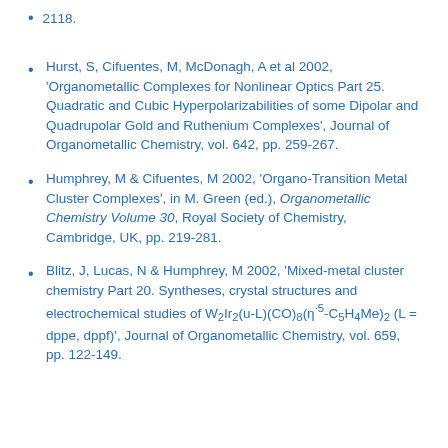2118.
Hurst, S, Cifuentes, M, McDonagh, A et al 2002, 'Organometallic Complexes for Nonlinear Optics Part 25. Quadratic and Cubic Hyperpolarizabilities of some Dipolar and Quadrupolar Gold and Ruthenium Complexes', Journal of Organometallic Chemistry, vol. 642, pp. 259-267.
Humphrey, M & Cifuentes, M 2002, 'Organo-Transition Metal Cluster Complexes', in M. Green (ed.), Organometallic Chemistry Volume 30, Royal Society of Chemistry, Cambridge, UK, pp. 219-281.
Blitz, J, Lucas, N & Humphrey, M 2002, 'Mixed-metal cluster chemistry Part 20. Syntheses, crystal structures and electrochemical studies of W2Ir2(u-L)(CO)8(η5-C5H4Me)2 (L = dppe, dppf)', Journal of Organometallic Chemistry, vol. 659, pp. 122-149.